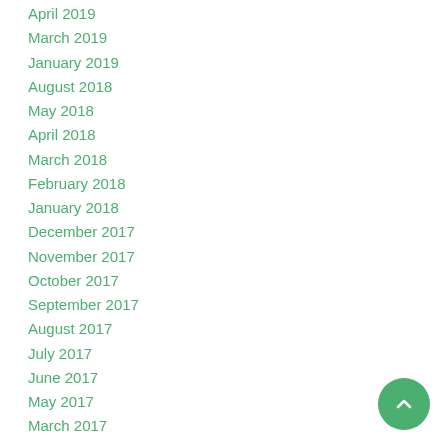April 2019
March 2019
January 2019
August 2018
May 2018
April 2018
March 2018
February 2018
January 2018
December 2017
November 2017
October 2017
September 2017
August 2017
July 2017
June 2017
May 2017
March 2017